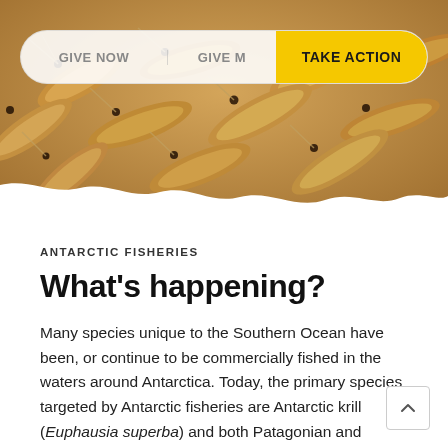[Figure (photo): Close-up photograph of Antarctic krill (Euphausia superba) — orange/amber colored crustaceans clustered together with small dark eyes visible, taken from above.]
GIVE NOW   GIVE M   TAKE ACTION
ANTARCTIC FISHERIES
What's happening?
Many species unique to the Southern Ocean have been, or continue to be commercially fished in the waters around Antarctica. Today, the primary species targeted by Antarctic fisheries are Antarctic krill (Euphausia superba) and both Patagonian and